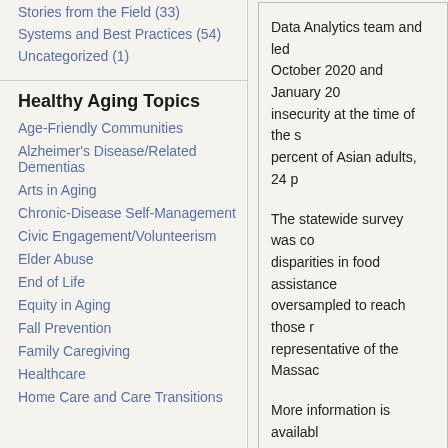Stories from the Field (33)
Systems and Best Practices (54)
Uncategorized (1)
Healthy Aging Topics
Age-Friendly Communities
Alzheimer's Disease/Related Dementias
Arts in Aging
Chronic-Disease Self-Management
Civic Engagement/Volunteerism
Elder Abuse
End of Life
Equity in Aging
Fall Prevention
Family Caregiving
Healthcare
Home Care and Care Transitions
Data Analytics team and led... October 2020 and January 20... insecurity at the time of the s... percent of Asian adults, 24 p...
The statewide survey was co... disparities in food assistance... oversampled to reach those r... representative of the Massac...
More information is availabl...